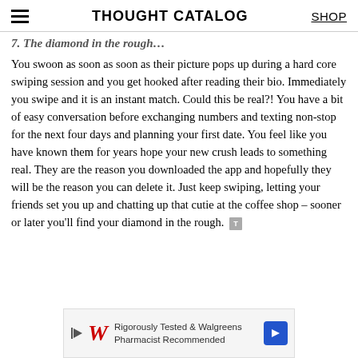THOUGHT CATALOG | SHOP
7. The diamond in the rough…
You swoon as soon as soon as their picture pops up during a hard core swiping session and you get hooked after reading their bio. Immediately you swipe and it is an instant match. Could this be real?! You have a bit of easy conversation before exchanging numbers and texting non-stop for the next four days and planning your first date. You feel like you have known them for years hope your new crush leads to something real. They are the reason you downloaded the app and hopefully they will be the reason you can delete it. Just keep swiping, letting your friends set you up and chatting up that cutie at the coffee shop – sooner or later you'll find your diamond in the rough.
[Figure (other): Walgreens advertisement banner: Rigorously Tested & Walgreens Pharmacist Recommended]